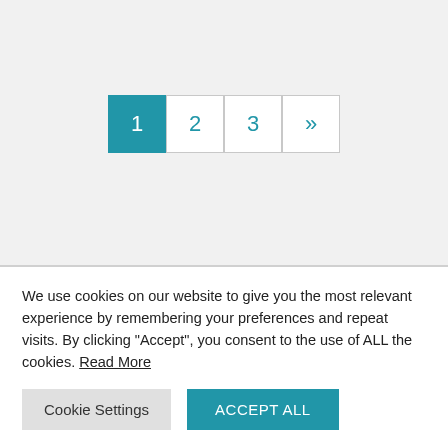[Figure (other): Pagination control showing page 1 (active/highlighted in teal), page 2, page 3, and a next/chevron button]
We use cookies on our website to give you the most relevant experience by remembering your preferences and repeat visits. By clicking “Accept”, you consent to the use of ALL the cookies. Read More
Cookie Settings
ACCEPT ALL